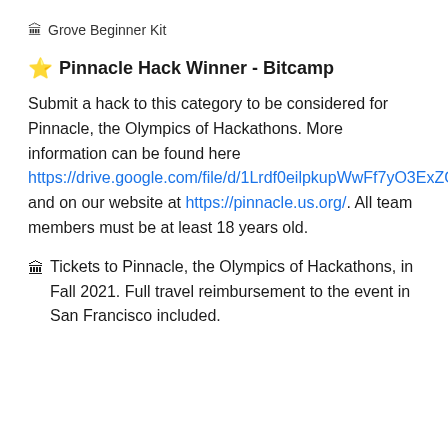🏛 Grove Beginner Kit
⭐ Pinnacle Hack Winner - Bitcamp
Submit a hack to this category to be considered for Pinnacle, the Olympics of Hackathons. More information can be found here https://drive.google.com/file/d/1Lrdf0eilpkupWwFf7yO3ExZGmkaST_AW/view and on our website at https://pinnacle.us.org/. All team members must be at least 18 years old.
🏛 Tickets to Pinnacle, the Olympics of Hackathons, in Fall 2021. Full travel reimbursement to the event in San Francisco included.